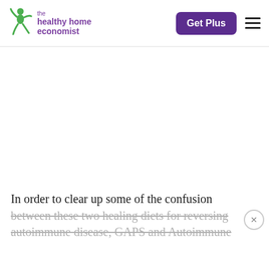the healthy home economist | Get Plus
[Figure (other): Blank white advertisement/content area in the middle of the page]
In order to clear up some of the confusion between these two healing diets for reversing autoimmune disease, GAPS and Autoimmune